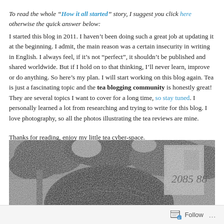To read the whole “How it all started” story, I suggest you click here otherwise the quick answer below:
I started this blog in 2011. I haven’t been doing such a great job at updating it at the beginning. I admit, the main reason was a certain insecurity in writing in English. I always feel, if it’s not “perfect”, it shouldn’t be published and shared worldwide. But if I hold on to that thinking, I’ll never learn, improve or do anything. So here’s my plan. I will start working on this blog again. Tea is just a fascinating topic and the tea blogging community is honestly great!
They are several topics I want to cover for a long time, so stay tuned. I personally learned a lot from researching and trying to write for this blog. I love photography, so all the photos illustrating the tea reviews are mine.

Thanks for reading, enjoy my little tea cyber-space.
[Figure (photo): Black and white photo showing the back of a person's head with dark hair, outdoors with trees in background and what appears to be a sign or structure on the right side.]
Follow ...